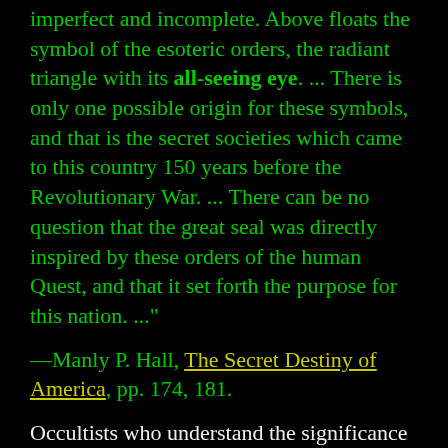imperfect and incomplete. Above floats the symbol of the esoteric orders, the radiant triangle with its all-seeing eye. ... There is only one possible origin for these symbols, and that is the secret societies which came to this country 150 years before the Revolutionary War. ... There can be no question that the great seal was directly inspired by these orders of the human Quest, and that it set forth the purpose for this nation. ..."
—Manly P. Hall, The Secret Destiny of America, pp. 174, 181.
Occultists who understand the significance of The Great Seal admit this openly...